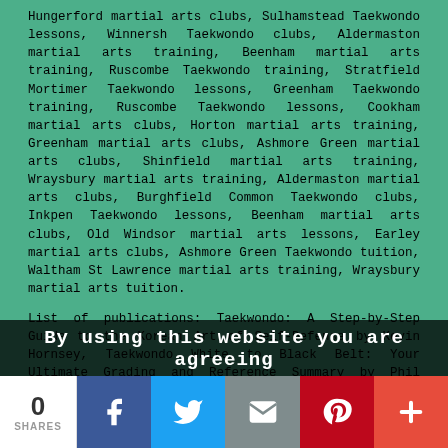Hungerford martial arts clubs, Sulhamstead Taekwondo lessons, Winnersh Taekwondo clubs, Aldermaston martial arts training, Beenham martial arts training, Ruscombe Taekwondo training, Stratfield Mortimer Taekwondo lessons, Greenham Taekwondo training, Ruscombe Taekwondo lessons, Cookham martial arts clubs, Horton martial arts training, Greenham martial arts clubs, Ashmore Green martial arts clubs, Shinfield martial arts training, Wraysbury martial arts training, Aldermaston martial arts clubs, Burghfield Common Taekwondo clubs, Inkpen Taekwondo lessons, Beenham martial arts clubs, Old Windsor martial arts lessons, Earley martial arts clubs, Ashmore Green Taekwondo tuition, Waltham St Lawrence martial arts training, Wraysbury martial arts tuition.
List of publications: Taekwondo: A Step-by-Step Guide to the Korean Art of Self-Defense by Kevin Hornsey, Taekwondo White to Black Belt: Your Ultimate Grading and Reference Summary by Phil Pearce, Taekwon-Do Patterns: From Beginner to Black Belt (Jim Hogan), Taekwondo: Ancient Wisdom for the Modern Warrior by Doug Cook, ITF Taekwondo: Basic Information and Korean for Belt Gradings, Complete Taekwondo Poomsae: The Official Taegeuk, Palgwae, and Black
By using this website you are agreeing